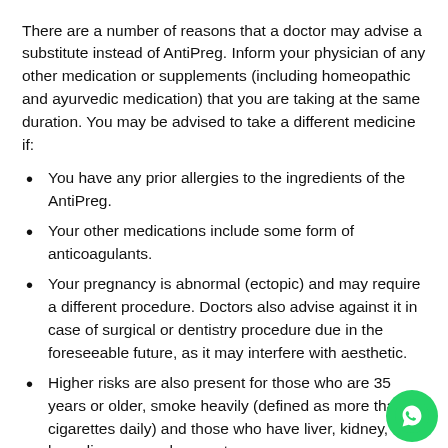There are a number of reasons that a doctor may advise a substitute instead of AntiPreg. Inform your physician of any other medication or supplements (including homeopathic and ayurvedic medication) that you are taking at the same duration. You may be advised to take a different medicine if:
You have any prior allergies to the ingredients of the AntiPreg.
Your other medications include some form of anticoagulants.
Your pregnancy is abnormal (ectopic) and may require a different procedure. Doctors also advise against it in case of surgical or dentistry procedure due in the foreseeable future, as it may interfere with aesthetic.
Higher risks are also present for those who are 35 years or older, smoke heavily (defined as more than ten cigarettes daily) and those who have liver, kidney, or lung diseases, or have ast there is a chance of renal impairment or adrenal failure, the